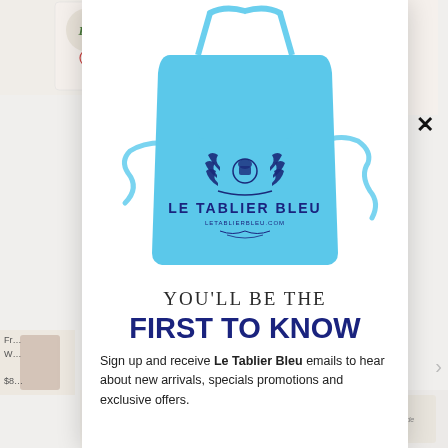[Figure (photo): Background e-commerce webpage showing partial product images including Bio branded flour/grain packages on top left, Moutarde de Dijon jar on top right, partial product images on sides and bottom. An overlay modal popup is displayed in the center-right area.]
[Figure (photo): Light blue cooking apron with Le Tablier Bleu logo and text printed in navy blue, shown on white background inside modal popup. The apron has neck strap, side ties, and a laurel wreath emblem above the brand name.]
YOU'LL BE THE
FIRST TO KNOW
Sign up and receive Le Tablier Bleu emails to hear about new arrivals, specials promotions and exclusive offers.